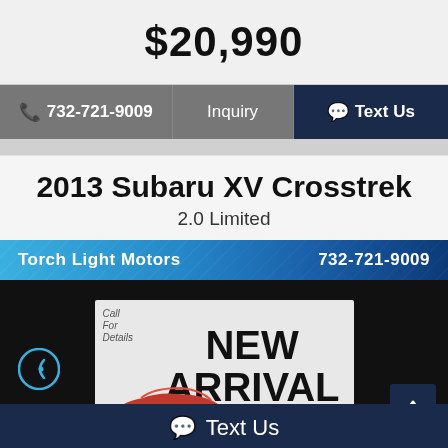$20,990
732-721-9009  Inquiry  Text Us
2013 Subaru XV Crosstrek
2.0 Limited
Torch Light Motors  732-721-9009
[Figure (photo): New Arrival dealer listing image with red car silhouette and 'Call For Details' text]
Text Us